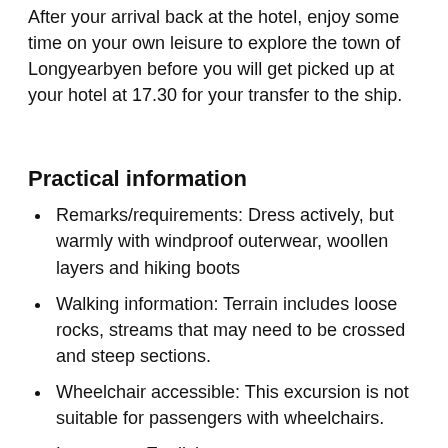After your arrival back at the hotel, enjoy some time on your own leisure to explore the town of Longyearbyen before you will get picked up at your hotel at 17.30 for your transfer to the ship.
Practical information
Remarks/requirements: Dress actively, but warmly with windproof outerwear, woollen layers and hiking boots
Walking information: Terrain includes loose rocks, streams that may need to be crossed and steep sections.
Wheelchair accessible: This excursion is not suitable for passengers with wheelchairs.
Language: English